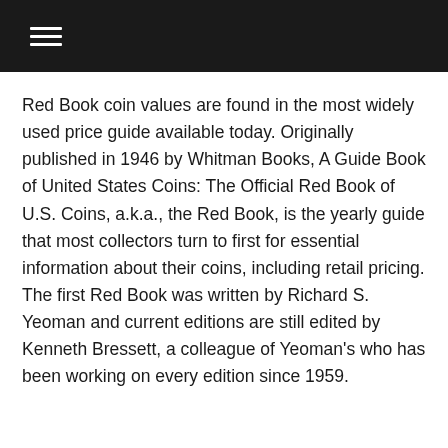☰
Red Book coin values are found in the most widely used price guide available today. Originally published in 1946 by Whitman Books, A Guide Book of United States Coins: The Official Red Book of U.S. Coins, a.k.a., the Red Book, is the yearly guide that most collectors turn to first for essential information about their coins, including retail pricing. The first Red Book was written by Richard S. Yeoman and current editions are still edited by Kenneth Bressett, a colleague of Yeoman's who has been working on every edition since 1959.